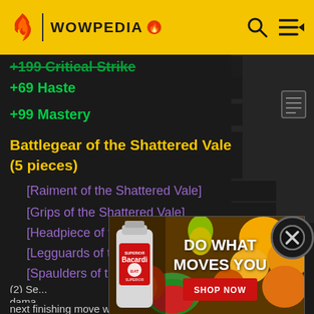WOWPEDIA
+69 Haste
+99 Mastery
Battlegear of the Shattered Vale (5 pieces)
[Raiment of the Shattered Vale]
[Grips of the Shattered Vale]
[Headpiece of the Shattered Vale]
[Legguards of the Shattered Vale]
[Spaulders of the Shattered Vale]
(2) Se... damage...
Ravag...
(4) Se...
next finishing move will restore 3...
[Figure (photo): Bacardi rum advertisement — bottle of Bacardi Superior rum on left, tropical fruits background, text 'DO WHAT MOVES YOU' and red 'SHOP NOW' button on right]